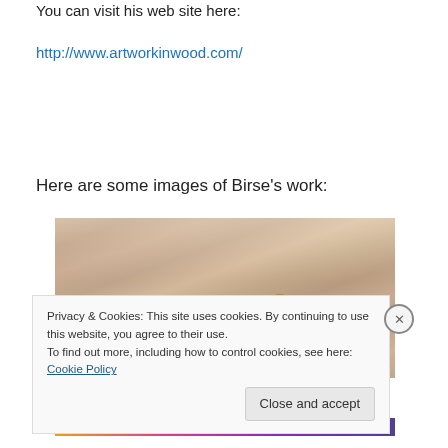You can visit his web site here:
http://www.artworkinwood.com/
Here are some images of Birse's work:
[Figure (photo): Close-up photograph of wood artwork with a gold clasp or hook detail, showing fine wood grain texture in warm brown tones.]
Privacy & Cookies: This site uses cookies. By continuing to use this website, you agree to their use.
To find out more, including how to control cookies, see here: Cookie Policy
Close and accept